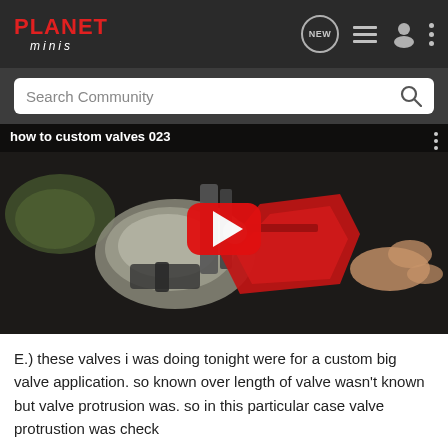[Figure (screenshot): Planet Minis website navigation bar with red Planet Minis logo, NEW chat icon, list icon, user icon, and more dots icon on dark background]
[Figure (screenshot): Search Community search bar with magnifying glass icon on dark gray background]
[Figure (screenshot): YouTube-style video thumbnail showing mechanical valve work with title 'how to custom valves 023' and red play button overlay]
E.) these valves i was doing tonight were for a custom big valve application. so known over length of valve wasn't known but valve protrusion was. so in this particular case valve protrustion was check